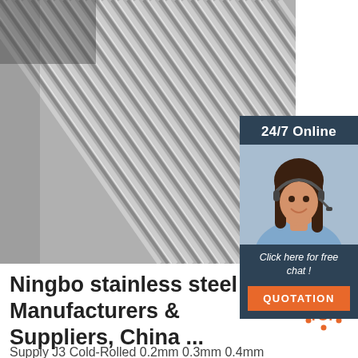[Figure (photo): Close-up photo of stainless steel wire rods bundled together, showing metallic silver and gray tones]
[Figure (infographic): Customer service chat widget with '24/7 Online' header, a photo of a smiling woman with a headset, 'Click here for free chat!' text, and an orange QUOTATION button]
Ningbo stainless steel Manufacturers & Suppliers, China ...
[Figure (logo): Orange dotted circle with TOP text logo]
Supply J3 Cold-Rolled 0.2mm 0.3mm 0.4mm